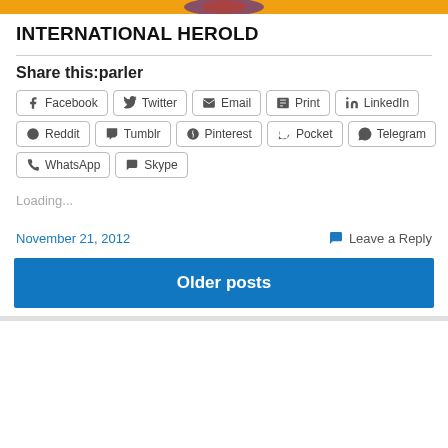[Figure (photo): Top banner image with orange/gold background and colorful graphic]
INTERNATIONAL HEROLD
Share this:parler
Facebook Twitter Email Print LinkedIn Reddit Tumblr Pinterest Pocket Telegram WhatsApp Skype
Loading...
November 21, 2012
Leave a Reply
Older posts